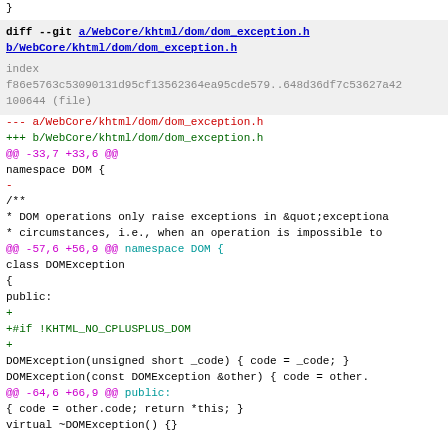}
diff --git a/WebCore/khtml/dom/dom_exception.h b/WebCore/khtml/dom/dom_exception.h
index f86e5763c53090131d95cf13562364ea95cde579..648d36df7c53627a42 100644 (file)
--- a/WebCore/khtml/dom/dom_exception.h
+++ b/WebCore/khtml/dom/dom_exception.h
@@ -33,7 +33,6 @@

 namespace DOM {

-
 /**
  * DOM operations only raise exceptions in &quot;exceptiona
  * circumstances, i.e., when an operation is impossible to
@@ -57,6 +56,9 @@ namespace DOM {
 class DOMException
 {
 public:
+
+#if !KHTML_NO_CPLUSPLUS_DOM
+
        DOMException(unsigned short _code) { code = _code; }
        DOMException(const DOMException &other) { code = other.

@@ -64,6 +66,9 @@ public:
        { code = other.code; return *this; }

    virtual ~DOMException() {}